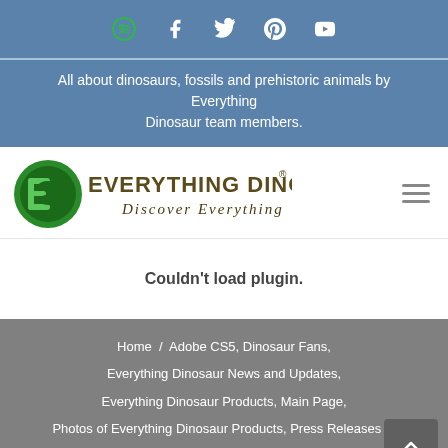Social icons bar: Spotify, Facebook, Twitter, Pinterest, YouTube
All about dinosaurs, fossils and prehistoric animals by Everything Dinosaur team members.
[Figure (logo): Everything Dinosaur logo with green circular E icon and text 'EVERYTHING DINOSAUR®' with tagline 'Discover Everything']
Couldn't load plugin.
Home / Adobe CS5, Dinosaur Fans, Everything Dinosaur News and Updates, Everything Dinosaur Products, Main Page, Photos of Everything Dinosaur Products, Press Releases / PNSO to Introduce Female T. rex in Resting Pose